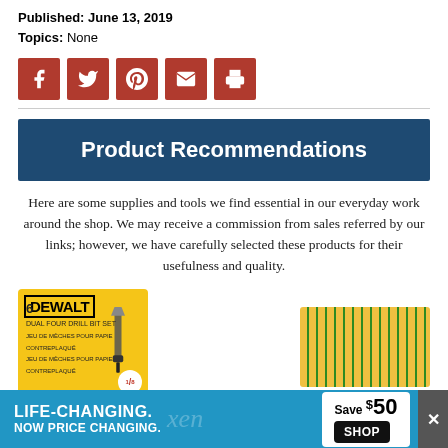Published: June 13, 2019
Topics: None
[Figure (infographic): Social media sharing icons: Facebook, Twitter, Pinterest, Email, Print — all on dark red square buttons]
Product Recommendations
Here are some supplies and tools we find essential in our everyday work around the shop. We may receive a commission from sales referred by our links; however, we have carefully selected these products for their usefulness and quality.
[Figure (photo): DeWalt 6-piece dual-four drill bit set product packaging on yellow card, and a set of yellow/green pencils]
[Figure (infographic): Advertisement banner: LIFE-CHANGING. NOW PRICE CHANGING. Xen. Save $50 SHOP button with X close button]